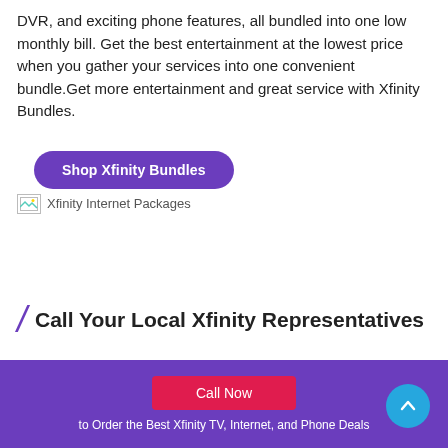DVR, and exciting phone features, all bundled into one low monthly bill. Get the best entertainment at the lowest price when you gather your services into one convenient bundle.Get more entertainment and great service with Xfinity Bundles.
Shop Xfinity Bundles
[Figure (other): Broken image placeholder labeled 'Xfinity Internet Packages']
/ Call Your Local Xfinity Representatives
Call Now
to Order the Best Xfinity TV, Internet, and Phone Deals